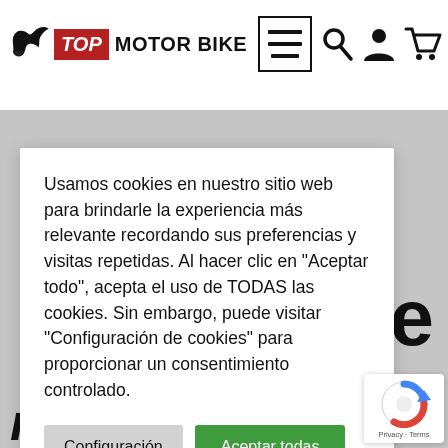[Figure (logo): Top Motor Bike logo with eagle icon, red TOP label, black MOTOR BIKE text]
[Figure (screenshot): Navigation icons: hamburger menu in box, search, user, cart icons]
Usamos cookies en nuestro sitio web para brindarle la experiencia más relevante recordando sus preferencias y visitas repetidas. Al hacer clic en "Aceptar todo", acepta el uso de TODAS las cookies. Sin embargo, puede visitar "Configuración de cookies" para proporcionar un consentimiento controlado.
Configuración
Aceptar todas
montaje –